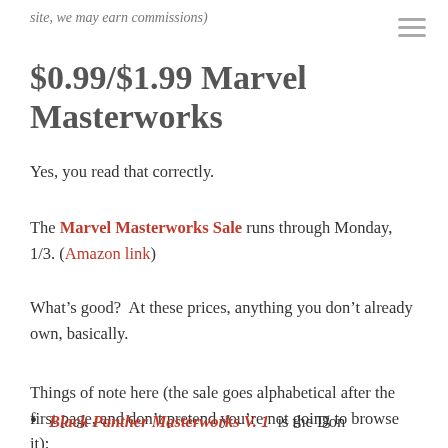site, we may earn commissions)
$0.99/$1.99 Marvel Masterworks
Yes, you read that correctly.
The Marvel Masterworks Sale runs through Monday, 1/3. (Amazon link)
What’s good?  At these prices, anything you don’t already own, basically.
Things of note here (the sale goes alphabetical after the first page, and don’t pretend you’re not going to browse it):
Black Panther Masterworks V. 1  is the Don